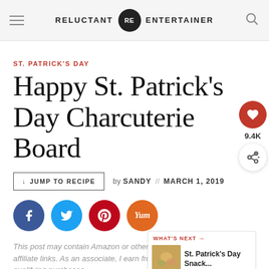RELUCTANT RE ENTERTAINER
ST. PATRICK'S DAY
Happy St. Patrick's Day Charcuterie Board
↓ JUMP TO RECIPE  by SANDY // MARCH 1, 2019
[Figure (other): Social share buttons: Facebook (blue circle), Twitter (light blue circle), Pinterest (red circle), Yummly (orange circle)]
This post may contain Amazon or other affiliate links. As an associate, I earn from qualifying purchases.
WHAT'S NEXT → St. Patrick's Day Snack...